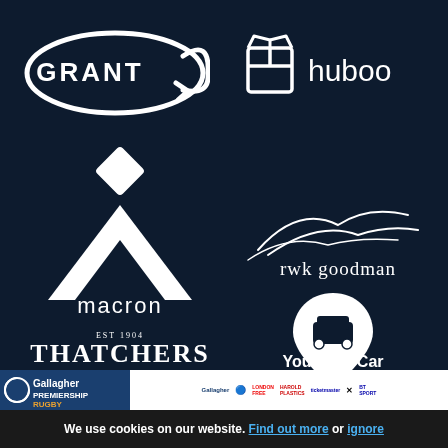[Figure (logo): Grant Thornton style oval logo with 'GRANT' text in white on dark navy background]
[Figure (logo): Huboo logo with box icon and 'huboo' text in white]
[Figure (logo): Macron sportswear logo - white chevron/diamond shape above 'macron' text]
[Figure (logo): rwk goodman logo with curved lines above text]
[Figure (logo): Thatchers cider logo - EST 1904 THE FAMILY CIDER MAKERS]
[Figure (logo): Your Red Car logo with map pin containing a small car icon, white on navy]
[Figure (logo): Footer sponsor bar: Gallagher Premiership Rugby with partner logos]
We use cookies on our website. Find out more or ignore